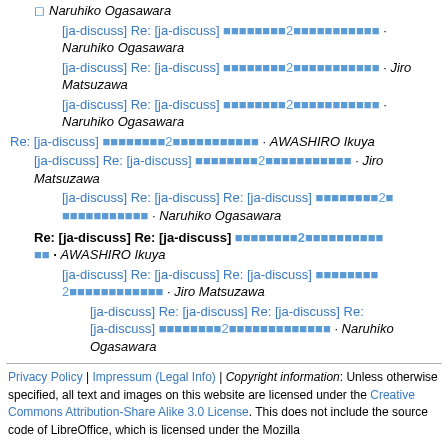◻ Naruhiko Ogasawara
[ja-discuss] Re: [ja-discuss] □□□□□□□□2□□□□□□□□□□□□ · Naruhiko Ogasawara
[ja-discuss] Re: [ja-discuss] □□□□□□□□2□□□□□□□□□□□□ · Jiro Matsuzawa
[ja-discuss] Re: [ja-discuss] □□□□□□□□2□□□□□□□□□□□□ · Naruhiko Ogasawara
Re: [ja-discuss] □□□□□□□□2□□□□□□□□□□□□ · AWASHIRO Ikuya
[ja-discuss] Re: [ja-discuss] □□□□□□□□2□□□□□□□□□□□□ · Jiro Matsuzawa
[ja-discuss] Re: [ja-discuss] Re: [ja-discuss] □□□□□□□□2□□□□□□□□□□□□ · Naruhiko Ogasawara
Re: [ja-discuss] Re: [ja-discuss] □□□□□□□□2□□□□□□□□ · AWASHIRO Ikuya
[ja-discuss] Re: [ja-discuss] Re: [ja-discuss] □□□□□□□□2□□□□□□□□□□□□ · Jiro Matsuzawa
[ja-discuss] Re: [ja-discuss] Re: [ja-discuss] Re: [ja-discuss] □□□□□□□□2□□□□□□□□□□□□ · Naruhiko Ogasawara
Privacy Policy | Impressum (Legal Info) | Copyright information: Unless otherwise specified, all text and images on this website are licensed under the Creative Commons Attribution-Share Alike 3.0 License. This does not include the source code of LibreOffice, which is licensed under the Mozilla